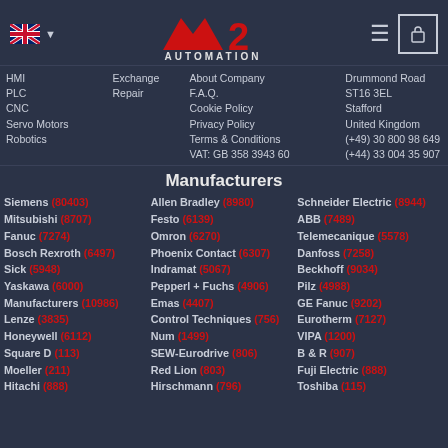K2 Automation logo with UK flag, hamburger menu, and cart icon
HMI, PLC, CNC, Servo Motors, Robotics, Exchange, Repair, About Company, F.A.Q., Cookie Policy, Privacy Policy, Terms & Conditions, VAT: GB 358 3943 60, Drummond Road, ST16 3EL, Stafford, United Kingdom, (+49) 30 800 98 649, (+44) 33 004 35 907
Manufacturers
Siemens (80403), Mitsubishi (8707), Fanuc (7274), Bosch Rexroth (6497), Sick (5948), Yaskawa (6000), Manufacturers (10986), Lenze (3835), Honeywell (6112), Square D (113), Moeller (211), Hitachi (888), Allen Bradley (8980), Festo (6139), Omron (6270), Phoenix Contact (6307), Indramat (5067), Pepperl + Fuchs (4906), Emas (4407), Control Techniques (756), Num (1499), SEW-Eurodrive (806), Red Lion (803), Hirschmann (796), Schneider Electric (8944), ABB (7489), Telemecanique (5578), Danfoss (7258), Beckhoff (9034), Pilz (4988), GE Fanuc (9202), Eurotherm (7127), VIPA (1200), B & R (907), Fuji Electric (888), Toshiba (115)